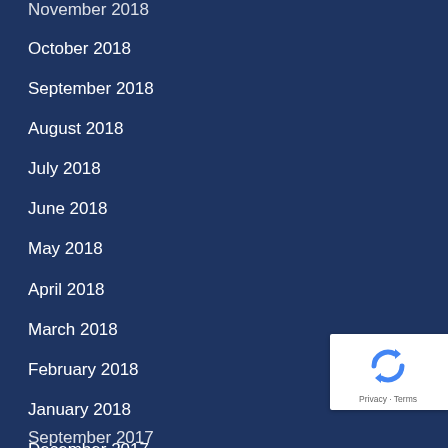November 2018 (partial, top)
October 2018
September 2018
August 2018
July 2018
June 2018
May 2018
April 2018
March 2018
February 2018
January 2018
December 2017
November 2017
October 2017
September 2017 (partial, bottom)